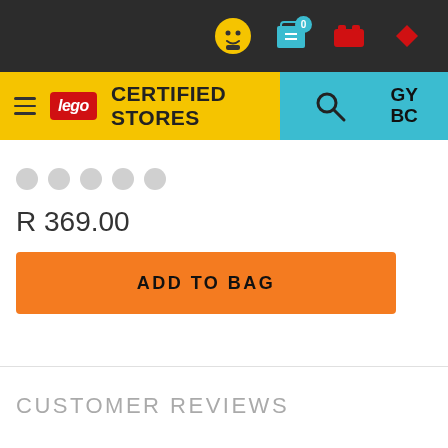LEGO CERTIFIED STORES
R 369.00
ADD TO BAG
CUSTOMER REVIEWS